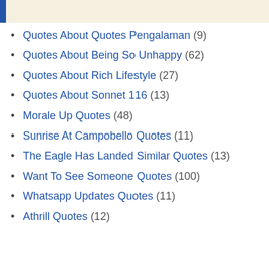Quotes About Quotes Pengalaman (9)
Quotes About Being So Unhappy (62)
Quotes About Rich Lifestyle (27)
Quotes About Sonnet 116 (13)
Morale Up Quotes (48)
Sunrise At Campobello Quotes (11)
The Eagle Has Landed Similar Quotes (13)
Want To See Someone Quotes (100)
Whatsapp Updates Quotes (11)
Athrill Quotes (12)